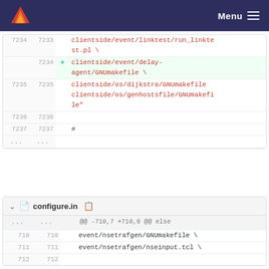Menu
| old | new | + | content |
| --- | --- | --- | --- |
| 7234 | 7233 |  | clientside/event/linktest/run_linktest.pl \ |
|  | 7234 | + | clientside/event/delay-agent/GNUmakefile \ |
| 7235 | 7235 |  | clientside/os/dijkstra/GNUmakefile clientside/os/genhostsfile/GNUmakefile" |
| 7236 | 7236 |  |  |
| 7237 | 7237 |  | # |
| ... | ... |  |  |
configure.in
| old | new | + | content |
| --- | --- | --- | --- |
| ... | ... |  | @@ -710,7 +710,6 @@ else |
| 710 | 710 |  | event/nsetrafgen/GNUmakefile \ |
| 711 | 711 |  | event/nsetrafgen/nseinput.tcl \ |
| 712 | 712 |  |  |